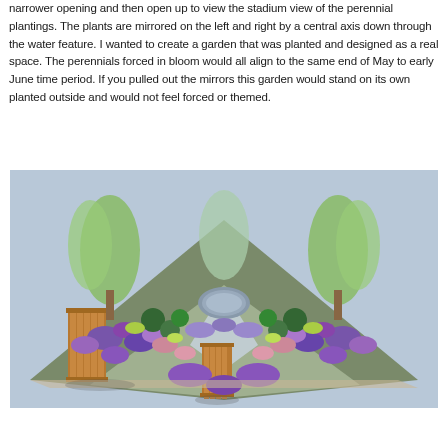narrower opening and then open up to view the stadium view of the perennial plantings. The plants are mirrored on the left and right by a central axis down through the water feature. I wanted to create a garden that was planted and designed as a real space. The perennials forced in bloom would all align to the same end of May to early June time period. If you pulled out the mirrors this garden would stand on its own planted outside and would not feel forced or themed.
[Figure (photo): Aerial 3D rendering of a symmetrical garden design featuring purple, pink, and green perennial plantings arranged around a central circular water feature. Wooden slatted structures frame a pathway. Tall feathery trees are visible in the background.]